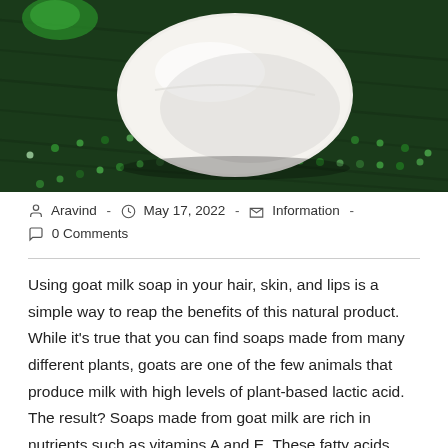[Figure (photo): A white oval bar of soap resting on a dark green fabric with decorative green beaded necklace/beads arranged around it]
Aravind - May 17, 2022 - Information - 0 Comments
Using goat milk soap in your hair, skin, and lips is a simple way to reap the benefits of this natural product. While it's true that you can find soaps made from many different plants, goats are one of the few animals that produce milk with high levels of plant-based lactic acid. The result? Soaps made from goat milk are rich in nutrients such as vitamins A and E. These fatty acids